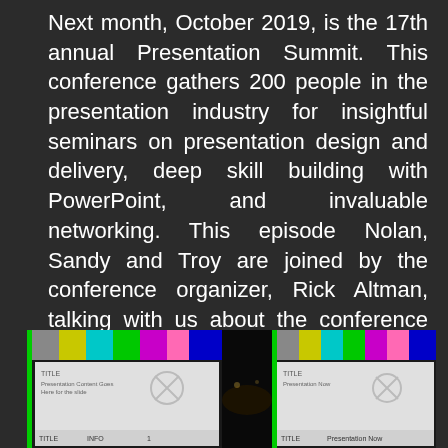Next month, October 2019, is the 17th annual Presentation Summit. This conference gathers 200 people in the presentation industry for insightful seminars on presentation design and delivery, deep skill building with PowerPoint, and invaluable networking. This episode Nolan, Sandy and Troy are joined by the conference organizer, Rick Altman, talking with us about the conference background, its philosophy and goals, and what to expect this year in San Antonio!
[Figure (photo): Photo of two presentation screens showing color test bars and slide content, with a dark conference hall visible between them.]